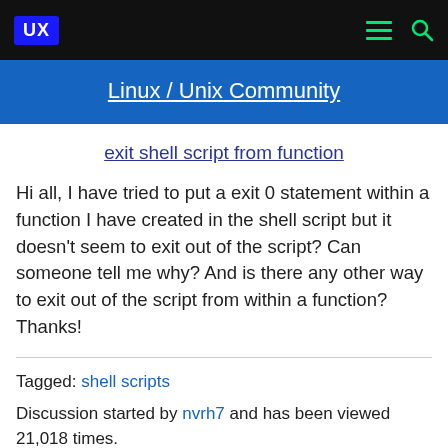UX  [menu icon] [search icon]
Linux / Unix Community
exit shell script from function
Hi all, I have tried to put a exit 0 statement within a function I have created in the shell script but it doesn't seem to exit out of the script? Can someone tell me why? And is there any other way to exit out of the script from within a function? Thanks!
Tagged: shell scripts
Discussion started by nvrh7 and has been viewed 21,018 times.